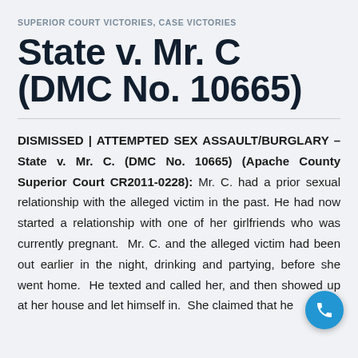SUPERIOR COURT VICTORIES, CASE VICTORIES
State v. Mr. C (DMC No. 10665)
DISMISSED | ATTEMPTED SEX ASSAULT/BURGLARY – State v. Mr. C. (DMC No. 10665) (Apache County Superior Court CR2011-0228): Mr. C. had a prior sexual relationship with the alleged victim in the past. He had now started a relationship with one of her girlfriends who was currently pregnant. Mr. C. and the alleged victim had been out earlier in the night, drinking and partying, before she went home. He texted and called her, and then showed up at her house and let himself in. She claimed that he